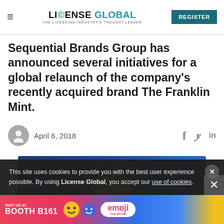LICENSE GLOBAL — THE LICENSING INDUSTRY'S THOUGHT LEADER | REGISTER
Sequential Brands Group has announced several initiatives for a global relaunch of the company's recently acquired brand The Franklin Mint.
April 6, 2018
[Figure (photo): Close-up of a blue Franklin Mint medallion coin with a golden center, showing partial text around the rim against a dark blue background.]
This site uses cookies to provide you with the best user experience possible. By using License Global, you accept our use of cookies.
[Figure (other): Advertisement banner: VISIT US AT BOOTH B161 with emoji brand mascots and emoji logo.]